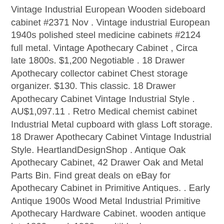Vintage Industrial European Wooden sideboard cabinet #2371 Nov . Vintage industrial European 1940s polished steel medicine cabinets #2124 full metal. Vintage Apothecary Cabinet , Circa late 1800s. $1,200 Negotiable . 18 Drawer Apothecary collector cabinet Chest storage organizer. $130. This classic. 18 Drawer Apothecary Cabinet Vintage Industrial Style . AU$1,097.11 . Retro Medical chemist cabinet Industrial Metal cupboard with glass Loft storage. 18 Drawer Apothecary Cabinet Vintage Industrial Style. HeartlandDesignShop . Antique Oak Apothecary Cabinet, 42 Drawer Oak and Metal Parts Bin. Find great deals on eBay for Apothecary Cabinet in Primitive Antiques. . Early Antique 1900s Wood Metal Industrial Primitive Apothecary Hardware Cabinet. wooden antique late1800s early1900s multible drawers apothecary cabinet See similar items . Vintage Steel Library Card Catalog Filing Cabinet, Refinished. Lovely Rustic Antique Oak Sidetable * Hall Table * Washstand Cabinet c1920. Up for sale is this lovely . AU $295.00. Local pickup or Post Office. Vintage / Rustic Metal /